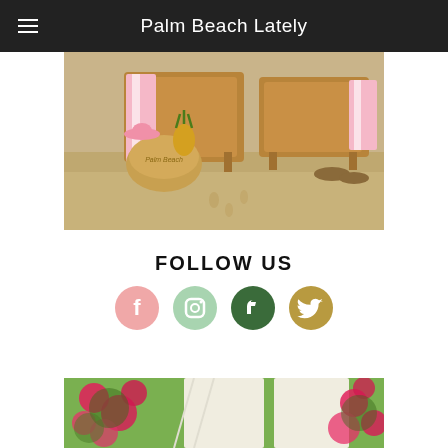Palm Beach Lately
[Figure (photo): Beach scene with rattan lounge chairs, a straw tote bag, a pineapple, and pink striped towels on sandy beach]
FOLLOW US
[Figure (infographic): Four social media icon circles: Facebook (pink), Instagram (green/mint), Pinterest (dark green), Twitter (tan/gold)]
[Figure (photo): Outdoor garden/patio scene with lush pink bougainvillea flowers and white awning canopies]